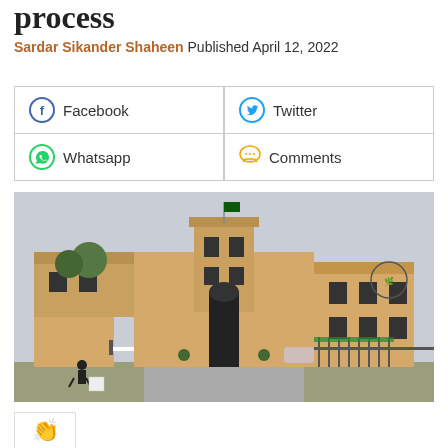process
Sardar Sikander Shaheen Published April 12, 2022
[Figure (other): Social sharing buttons grid: Facebook, Twitter, Whatsapp, Comments]
[Figure (photo): Photograph of a government building — a beige/tan multi-storey building with a Pakistani flag, security gate with barrier arm, guards, and a circular emblem on the right wing. Trees and parked vehicles visible.]
[Figure (other): Small thumbnail image with applause/clapping hands icon]